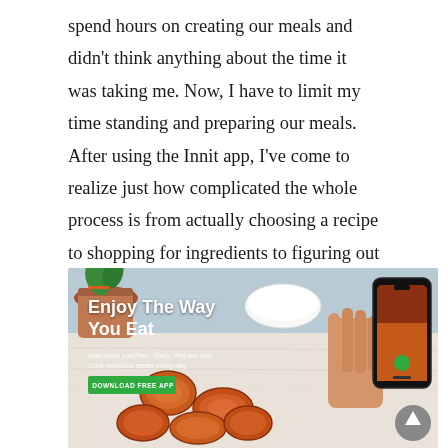spend hours on creating our meals and didn't think anything about the time it was taking me. Now, I have to limit my time standing and preparing our meals. After using the Innit app, I've come to realize just how complicated the whole process is from actually choosing a recipe to shopping for ingredients to figuring out how to cook it.  Just typing that feels exhausting.
[Figure (photo): Innit app advertisement banner showing sweet potato slices on a wooden cutting board, a terracotta pot with plant, white bowl, and a hand holding a smartphone displaying the Innit app. Text overlay reads 'Enjoy The Way You Eat' with tagline 'Innit helps you Plan, Shop, Prepare and Cook delicious meals every day' and a green 'DOWNLOAD FREE APP' button.]